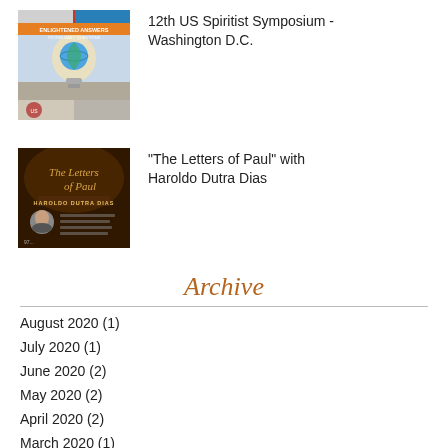[Figure (illustration): 12th US Spiritist Symposium event flyer thumbnail — light bulb with globe imagery, text 'ENLIGHTENED ANSWERS TO OUR DAILY QUESTIONS']
12th US Spiritist Symposium - Washington D.C.
[Figure (illustration): Dark brown/black event poster for 'The Letters of Paul' with Haroldo Dutra Dias — cursive title text, author photo, event details]
"The Letters of Paul" with Haroldo Dutra Dias
Archive
August 2020 (1)
July 2020 (1)
June 2020 (2)
May 2020 (2)
April 2020 (2)
March 2020 (1)